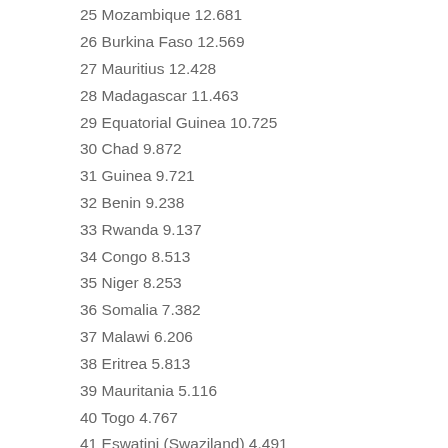25 Mozambique 12.681
26 Burkina Faso 12.569
27 Mauritius 12.428
28 Madagascar 11.463
29 Equatorial Guinea 10.725
30 Chad 9.872
31 Guinea 9.721
32 Benin 9.238
33 Rwanda 9.137
34 Congo 8.513
35 Niger 8.253
36 Somalia 7.382
37 Malawi 6.206
38 Eritrea 5.813
39 Mauritania 5.116
40 Togo 4.767
41 Eswatini (Swaziland) 4.491
42 Sierra Leone 3.641
43 Burundi 3.396
44 Liberia 3.285
45 South Sudan 2.870
46 Lesotho 2.768